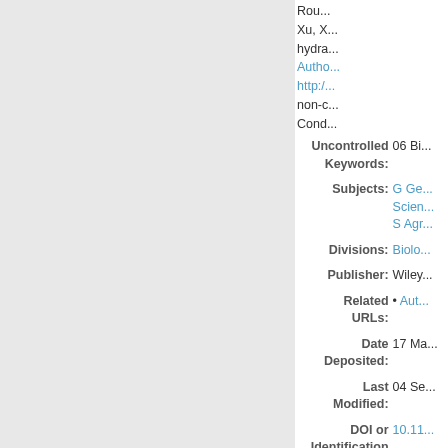Rou... Xu, X... hydra... Autho... http:/... non-c... Cond...
| Field | Value |
| --- | --- |
| Uncontrolled Keywords: | 06 Bi... |
| Subjects: | G Ge... Scien... S Agr... |
| Divisions: | Biolo... |
| Publisher: | Wiley... |
| Related URLs: | • Aut... |
| Date Deposited: | 17 Ma... |
| Last Modified: | 04 Se... |
| DOI or Identification number: | 10.11... |
| URI: | https... |